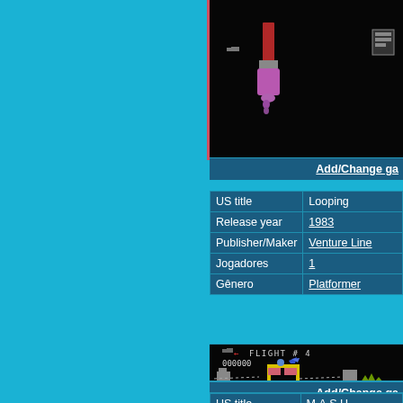[Figure (screenshot): Game screenshot showing black screen with paint brush icon (red handle, pink/purple bristles dripping) on left side. Pink/red border frame.]
Add/Change ga
|  |  |
| --- | --- |
| US title | Looping |
| Release year | 1983 |
| Publisher/Maker | Venture Line |
| Jogadores | 1 |
| Gênero | Platformer |
[Figure (screenshot): Looping game screenshot showing black screen with pixel art city scene. Text reads 'FLIGHT # 4' and '000000'. Blue bird/plane sprite flying. Below: gray buildings, yellow lattice arch structure with pink/red blocks, green platform, dashed lines indicating flight path.]
Add/Change ga
|  |  |
| --- | --- |
| US title | M.A.S.H. |